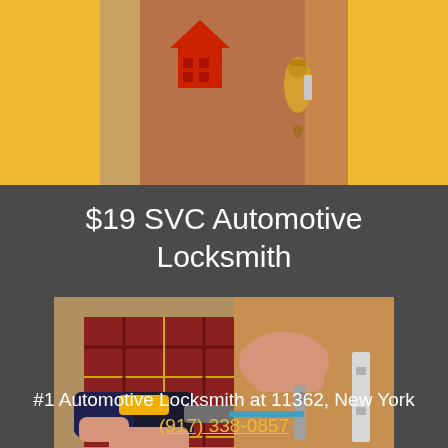[Figure (photo): Top banner showing a door lock with a red house icon/logo on left, golden/yellow background on sides, wooden door and gold door handle visible]
$19 SVC Automotive Locksmith
[Figure (photo): Locksmith working on a door lock using a power drill, person wearing plaid shirt, door knob and lock visible in background]
#1 Automotive Locksmith at 11362, New York (917) 338-0857